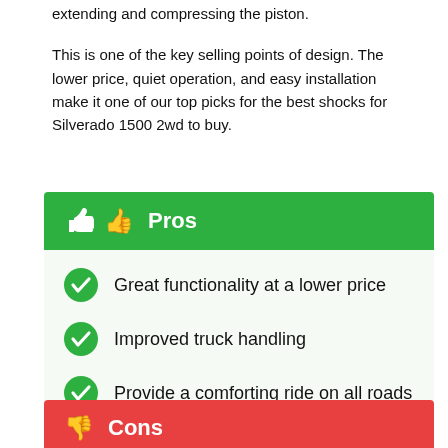extending and compressing the piston.
This is one of the key selling points of design. The lower price, quiet operation, and easy installation make it one of our top picks for the best shocks for Silverado 1500 2wd to buy.
Pros
Great functionality at a lower price
Improved truck handling
Provide a comforting ride on all roads
Cons